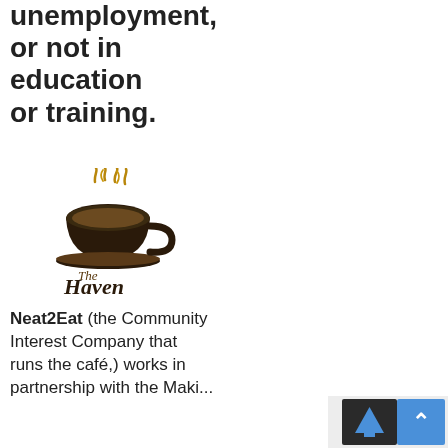unemployment, or not in education or training.
[Figure (logo): The Haven cafe logo with a steaming coffee cup illustration and stylized text reading 'The Haven']
Neat2Eat (the Community Interest Company that runs the café,) works in partnership with the Maki...
The theme for this year is the Queen's Platinum Jubilee, so judges are expecting to see lots of red, white and blue as well as purple, the theme colour for the Platinum celebrations.
Schools, conservations areas and community gardens will